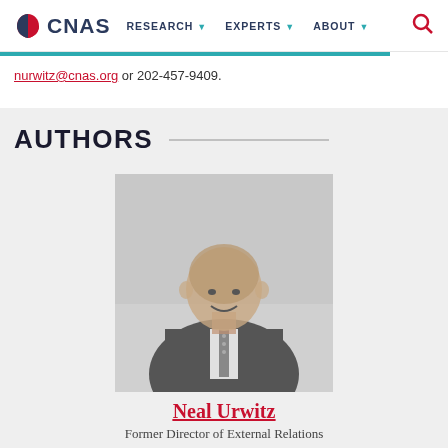CNAS | RESEARCH | EXPERTS | ABOUT
nurwitz@cnas.org or 202-457-9409.
AUTHORS
[Figure (photo): Black and white headshot of Neal Urwitz, a bald man in a suit and tie, smiling]
Neal Urwitz
Former Director of External Relations
Neal Urwitz is the former Director of External Relations at the Center for a New American Security (CNAS). In that capacity, Mr. Urwitz was responsible for the organization's ...